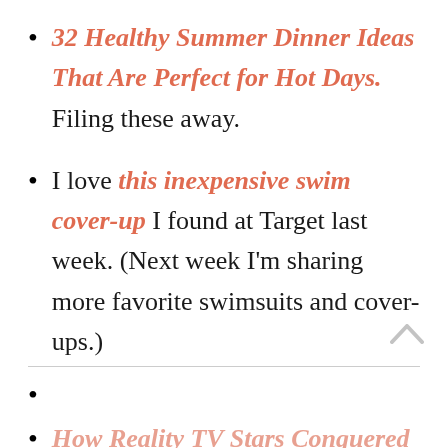32 Healthy Summer Dinner Ideas That Are Perfect for Hot Days. Filing these away.
I love this inexpensive swim cover-up I found at Target last week. (Next week I'm sharing more favorite swimsuits and cover-ups.)
How Reality TV Stars Conquered Your